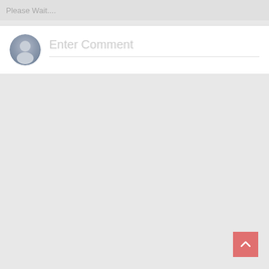Please Wait....
[Figure (screenshot): User comment input area with a circular avatar icon on the left and 'Enter Comment' placeholder text on the right with an underline]
[Figure (other): Pink/red square scroll-to-top button with an upward chevron arrow in the bottom-right corner]